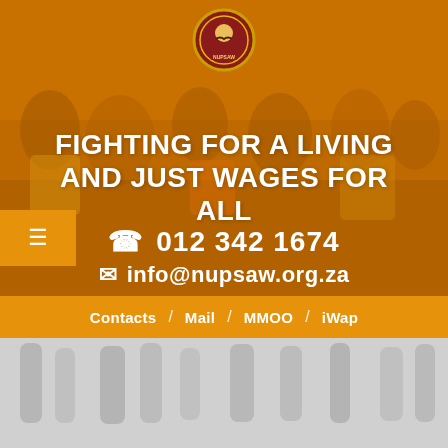[Figure (photo): Hero section with orange-tinted overlay over protest/march crowd photo, NUPSAW union logo at top center, people in yellow shirts visible]
FIGHTING FOR A LIVING AND JUST WAGES FOR ALL
☎ 012 342 1674
✉ info@nupsaw.org.za
Contacts / Mail / MMOO / iWap
[Figure (photo): Grayscale faded lower portion showing crowd/march participants from waist down]